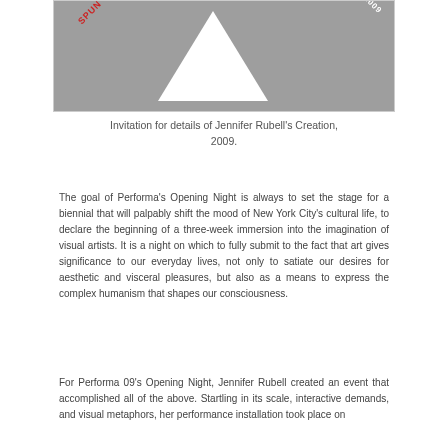[Figure (illustration): Gray invitation card showing a white triangle, with 'SPUN S' text in red rotated diagonally on the left, and 'CTOBER 30 2009' text in white rotated diagonally on the right.]
Invitation for details of Jennifer Rubell's Creation, 2009.
The goal of Performa's Opening Night is always to set the stage for a biennial that will palpably shift the mood of New York City's cultural life, to declare the beginning of a three-week immersion into the imagination of visual artists. It is a night on which to fully submit to the fact that art gives significance to our everyday lives, not only to satiate our desires for aesthetic and visceral pleasures, but also as a means to express the complex humanism that shapes our consciousness.
For Performa 09's Opening Night, Jennifer Rubell created an event that accomplished all of the above. Startling in its scale, interactive demands, and visual metaphors, her performance installation took place on